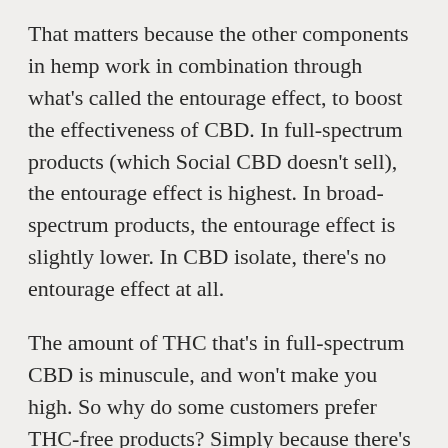That matters because the other components in hemp work in combination through what's called the entourage effect, to boost the effectiveness of CBD. In full-spectrum products (which Social CBD doesn't sell), the entourage effect is highest. In broad-spectrum products, the entourage effect is slightly lower. In CBD isolate, there's no entourage effect at all.
The amount of THC that's in full-spectrum CBD is minuscule, and won't make you high. So why do some customers prefer THC-free products? Simply because there's no way they can mistakenly trigger a marijuana drug test. In truth, that doesn't happen very often with full-spectrum CBD either, but many people believe they're better safe than sorry.
Most of the processes that Social CBD uses to